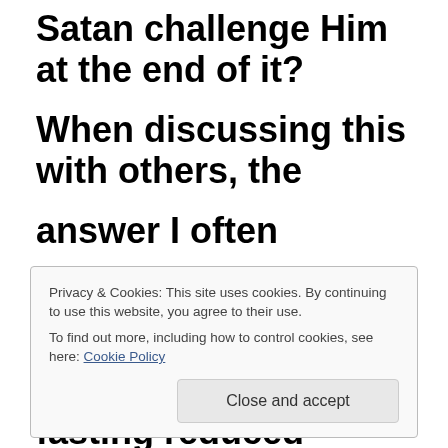Satan challenge Him at the end of it? When discussing this with others, the answer I often heard went something like this: “The fasting reduced
Privacy & Cookies: This site uses cookies. By continuing to use this website, you agree to their use.
To find out more, including how to control cookies, see here: Cookie Policy